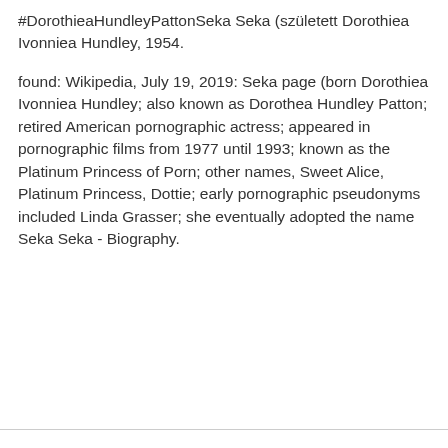#DorothieaHundleyPattonSeka Seka (született Dorothiea Ivonniea Hundley, 1954.
found: Wikipedia, July 19, 2019: Seka page (born Dorothiea Ivonniea Hundley; also known as Dorothea Hundley Patton; retired American pornographic actress; appeared in pornographic films from 1977 until 1993; known as the Platinum Princess of Porn; other names, Sweet Alice, Platinum Princess, Dottie; early pornographic pseudonyms included Linda Grasser; she eventually adopted the name Seka Seka - Biography.